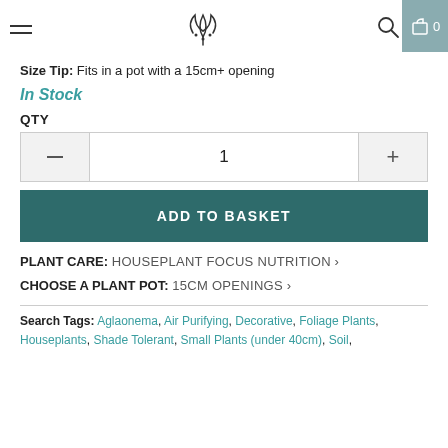Navigation header with hamburger menu, plant logo, search icon, and basket (0)
Size Tip: Fits in a pot with a 15cm+ opening
In Stock
QTY
— 1 +
ADD TO BASKET
PLANT CARE: HOUSEPLANT FOCUS NUTRITION >
CHOOSE A PLANT POT: 15CM OPENINGS >
Search Tags: Aglaonema, Air Purifying, Decorative, Foliage Plants, Houseplants, Shade Tolerant, Small Plants (under 40cm), Soil,